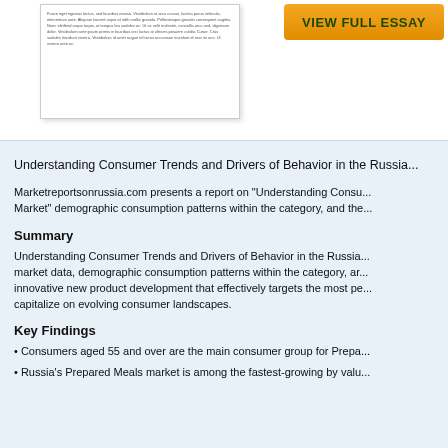[Figure (other): Preview thumbnail of a document page with lorem ipsum placeholder text]
[Figure (other): Orange 'VIEW FULL ESSAY' button]
Understanding Consumer Trends and Drivers of Behavior in the Russia...
Marketreportsonrussia.com presents a report on "Understanding Consu... Market" demographic consumption patterns within the category, and the...
Summary
Understanding Consumer Trends and Drivers of Behavior in the Russia... market data, demographic consumption patterns within the category, ar... innovative new product development that effectively targets the most pe... capitalize on evolving consumer landscapes.
Key Findings
• Consumers aged 55 and over are the main consumer group for Prepa...
• Russia's Prepared Meals market is among the fastest-growing by valu...